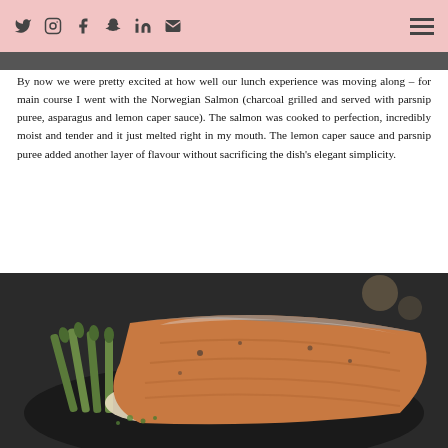Social media icons and hamburger menu
[Figure (photo): Top edge of a food photograph partially visible]
By now we were pretty excited at how well our lunch experience was moving along – for main course I went with the Norwegian Salmon (charcoal grilled and served with parsnip puree, asparagus and lemon caper sauce). The salmon was cooked to perfection, incredibly moist and tender and it just melted right in my mouth. The lemon caper sauce and parsnip puree added another layer of flavour without sacrificing the dish's elegant simplicity.
[Figure (photo): Close-up photograph of a charcoal grilled Norwegian Salmon fillet served with asparagus and parsnip puree on a dark plate]